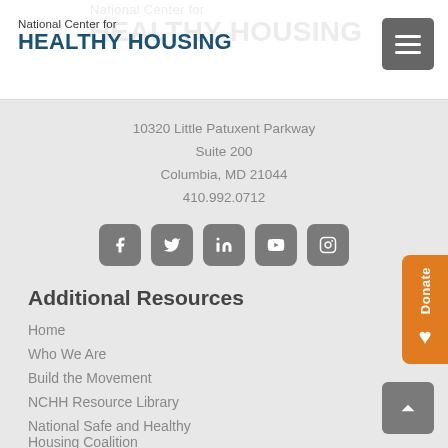National Center for HEALTHY HOUSING
10320 Little Patuxent Parkway
Suite 200
Columbia, MD 21044
410.992.0712
[Figure (infographic): Social media icons: Facebook, Twitter, LinkedIn, YouTube, Instagram]
Additional Resources
Home
Who We Are
Build the Movement
NCHH Resource Library
National Safe and Healthy Housing Coalition
Privacy Policy
NCHH Staff Login